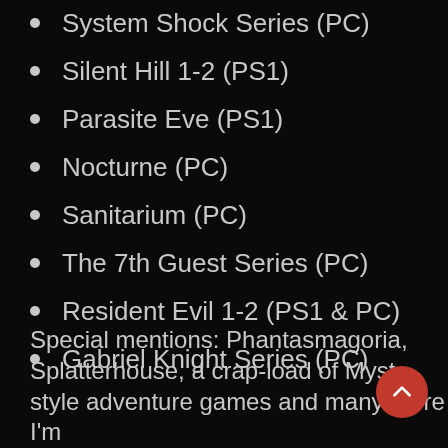System Shock Series (PC)
Silent Hill 1-2 (PS1)
Parasite Eve (PS1)
Nocturne (PC)
Sanitarium (PC)
The 7th Guest Series (PC)
Resident Evil 1-2 (PS1 & PC)
Gabriel Knight Series (PC)
Special mentions: Phantasmagoria, Splatterhouse, a crap-load of Myst style adventure games and many more I'm